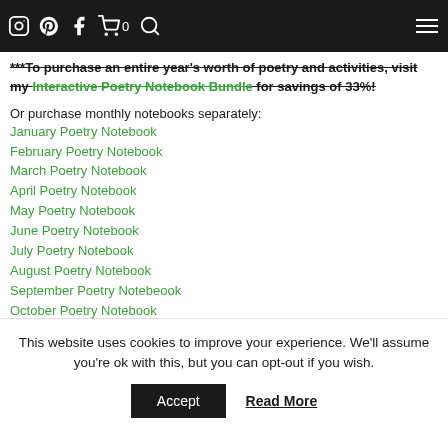Navigation bar with social icons (Instagram, Pinterest, Facebook), cart (0), search, and hamburger menu
***To purchase an entire year's worth of poetry and activities, visit my Interactive Poetry Notebook Bundle for savings of 33%!
Or purchase monthly notebooks separately:
January Poetry Notebook
February Poetry Notebook
March Poetry Notebook
April Poetry Notebook
May Poetry Notebook
June Poetry Notebook
July Poetry Notebook
August Poetry Notebook
September Poetry Notebeook
October Poetry Notebook
November Poetry Notebook
December Poetry Notebook
Thank you so very much for stopping by my store! I hope you
This website uses cookies to improve your experience. We'll assume you're ok with this, but you can opt-out if you wish.